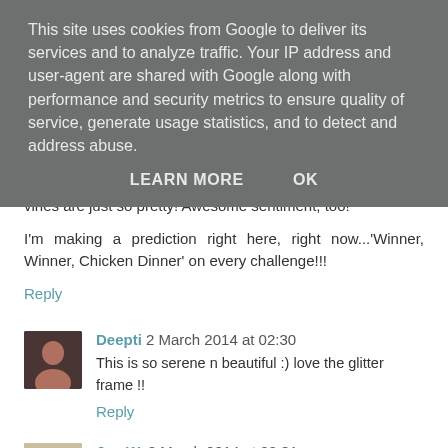This site uses cookies from Google to deliver its services and to analyze traffic. Your IP address and user-agent are shared with Google along with performance and security metrics to ensure quality of service, generate usage statistics, and to detect and address abuse.
LEARN MORE    OK
vines are just so pretty! Awesome sentiment, too!
I'm making a prediction right here, right now...'Winner, Winner, Chicken Dinner' on every challenge!!!
Reply
Deepti  2 March 2014 at 02:30
This is so serene n beautiful :) love the glitter frame !!
Reply
Jen W.  2 March 2014 at 02:31